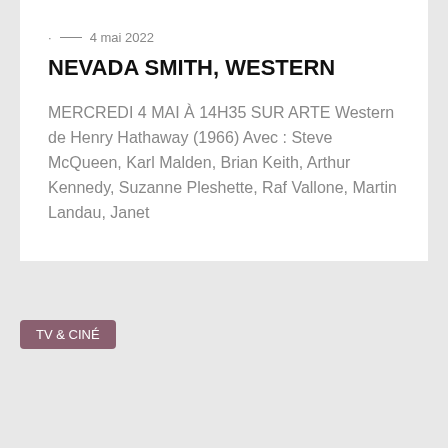4 mai 2022
NEVADA SMITH, WESTERN
MERCREDI 4 MAI À 14H35 SUR ARTE Western de Henry Hathaway (1966) Avec : Steve McQueen, Karl Malden, Brian Keith, Arthur Kennedy, Suzanne Pleshette, Raf Vallone, Martin Landau, Janet
TV & CINÉ